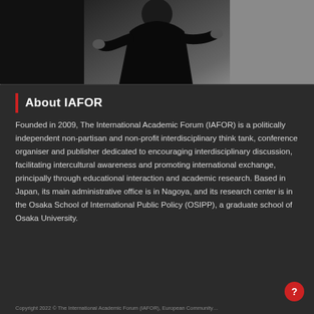[Figure (photo): Partial view of a person in a dark suit gesturing with hands, against a light grey background, with dark areas on left and right edges]
About IAFOR
Founded in 2009, The International Academic Forum (IAFOR) is a politically independent non-partisan and non-profit interdisciplinary think tank, conference organiser and publisher dedicated to encouraging interdisciplinary discussion, facilitating intercultural awareness and promoting international exchange, principally through educational interaction and academic research. Based in Japan, its main administrative office is in Nagoya, and its research center is in the Osaka School of International Public Policy (OSIPP), a graduate school of Osaka University.
Copyright 2022 © The International Academic Forum (IAFOR), European Community...